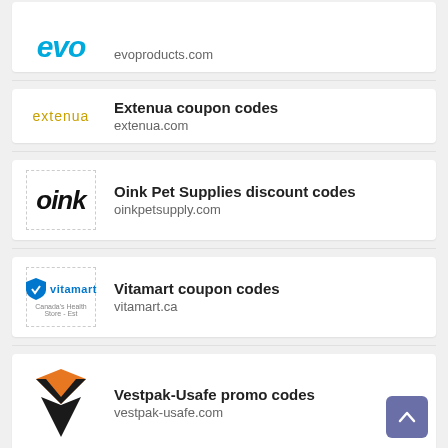[Figure (logo): evo brand logo in blue italic text, partially cropped at top]
evoproducts.com
[Figure (logo): Extenua logo in orange/gold lowercase text]
Extenua coupon codes
extenua.com
[Figure (logo): oink logo in bold black italic text]
Oink Pet Supplies discount codes
oinkpetsupply.com
[Figure (logo): Vitamart logo with blue shield icon and brand name]
Vitamart coupon codes
vitamart.ca
[Figure (logo): Vestpak-Usafe logo with orange and black V-shaped bird/shield icon]
Vestpak-Usafe promo codes
vestpak-usafe.com